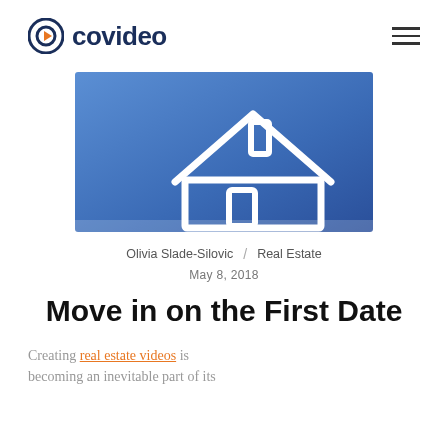covideo
[Figure (illustration): Blue background with a white outline house/home icon illustration]
Olivia Slade-Silovic / Real Estate
May 8, 2018
Move in on the First Date
Creating real estate videos is becoming an inevitable part of its...